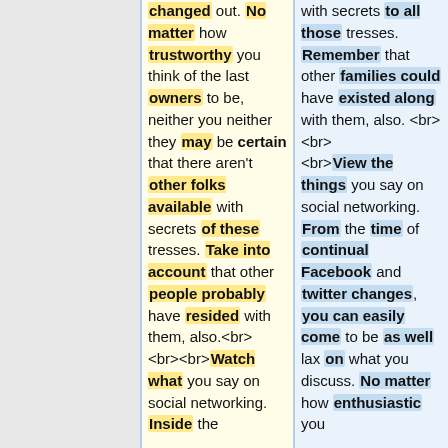changed out. No matter how trustworthy you think of the last owners to be, neither you neither they may be certain that there aren't other folks available with secrets of these tresses. Take into account that other people probably have resided with them, also.<br><br><br>Watch what you say on social networking. Inside the
with secrets to all those tresses. Remember that other families could have existed along with them, also. <br><br><br>View the things you say on social networking. From the time of continual Facebook and twitter changes, you can easily come to be as well lax on what you discuss. No matter how enthusiastic you